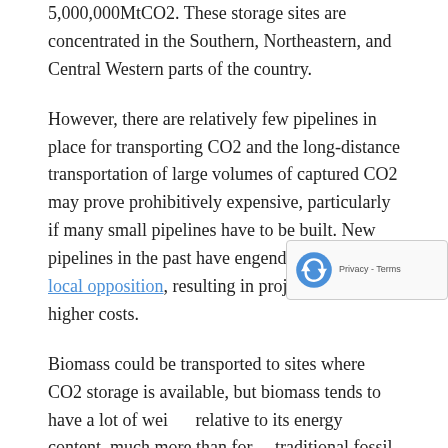5,000,000MtCO2. These storage sites are concentrated in the Southern, Northeastern, and Central Western parts of the country.
However, there are relatively few pipelines in place for transporting CO2 and the long-distance transportation of large volumes of captured CO2 may prove prohibitively expensive, particularly if many small pipelines have to be built. New pipelines in the past have engendered significant local opposition, resulting in project delays an higher costs.
Biomass could be transported to sites where CO2 storage is available, but biomass tends to have a lot of weight relative to its energy content, much more than for traditional fossil fuels. Transporting large amounts of biomass long distances would significantly add to the costs.